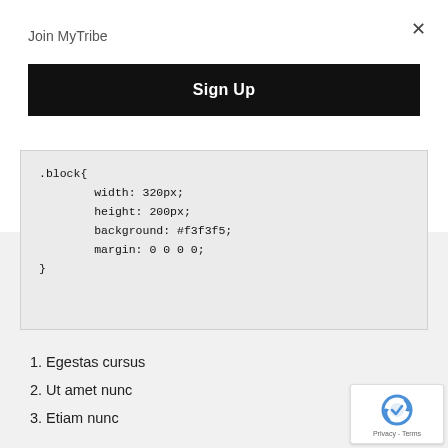Join MyTribe
×
Sign Up
.block{
        width: 320px;
        height: 200px;
        background: #f3f3f5;
        margin: 0 0 0 0;
}
1. Egestas cursus
2. Ut amet nunc
3. Etiam nunc
[Figure (logo): Google reCAPTCHA badge with icon and Privacy - Terms text]